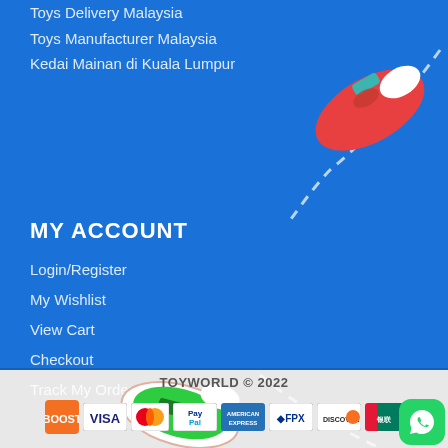Toys Delivery Malaysia
Toys Manufacturer Malaysia
Kedai Mainan di Kuala Lumpur
[Figure (illustration): Red toy speedboat illustration with dashed trail path]
MY ACCOUNT
Login/Register
My Wishlist
View Cart
Checkout
Track My Order
[Figure (illustration): Green toy speedboat illustration with dashed trail path]
TOYWORLD © 2022
[Figure (infographic): Payment method icons: Boost, Visa, Mastercard, PayPal, American Express, FPX, Discover, UnionPay, WhatsApp button]